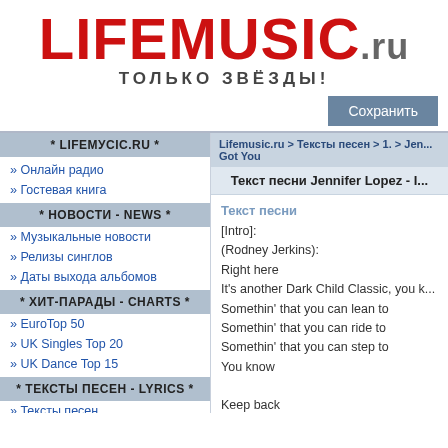[Figure (logo): LIFEMUSIC.RU logo in large red bold text with star patterns, with tagline 'ТОЛЬКО ЗВЁЗДЫ!' below]
Сохранить
* LIFEMУСІС.RU *
» Онлайн радио
» Гостевая книга
* НОВОСТИ - NEWS *
» Музыкальные новости
» Релизы синглов
» Даты выхода альбомов
* ХИТ-ПАРАДЫ - CHARTS *
» EuroTop 50
» UK Singles Top 20
» UK Dance Top 15
* ТЕКСТЫ ПЕСЕН - LYRICS *
» Тексты песен
» Новые тексты песен
Lifemusic.ru > Тексты песен > 1. > Jen... Got You
Текст песни Jennifer Lopez - I...
Текст песни
[Intro]:
(Rodney Jerkins):
Right here
It's another Dark Child Classic, you k...
Somethin' that you can lean to
Somethin' that you can ride to
Somethin' that you can step to
You know

Keep back

[Verse 1]:
(Jennifer)